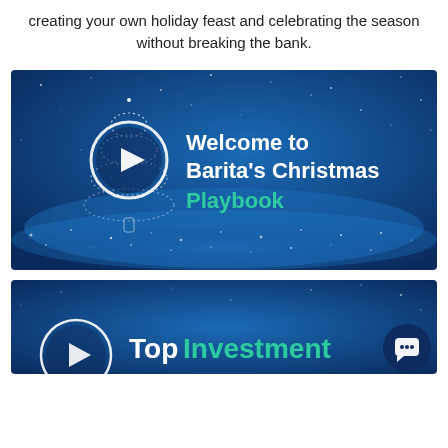creating your own holiday feast and celebrating the season without breaking the bank.
[Figure (illustration): Dark blue video thumbnail showing a glowing Christmas tree outline made of light particles on a starry blue background. A white circular play button icon on the left. White bold text reads 'Welcome to Barita's Christmas' and below in green 'Playbook'.]
[Figure (illustration): Dark blue video thumbnail (partially visible) with a white circular play button on left and text beginning 'Top Investment' in white and green. A dark navy circular chat button icon appears in the lower right corner.]